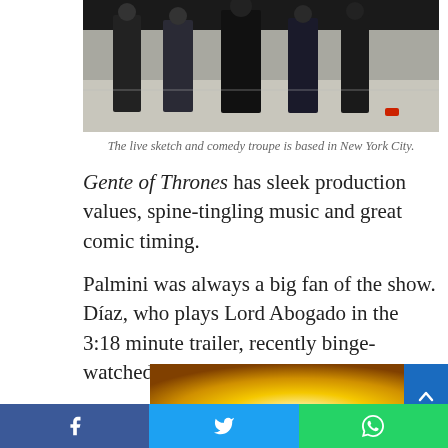[Figure (photo): Group photo of five people (a live sketch and comedy troupe) standing side by side outdoors on a pavement, all wearing jeans and dark tops.]
The live sketch and comedy troupe is based in New York City.
Gente of Thrones has sleek production values, spine-tingling music and great comic timing.
Palmini was always a big fan of the show. Díaz, who plays Lord Abogado in the 3:18 minute trailer, recently binge-watched the show and was hooked.
[Figure (photo): Partial image showing a figure with bright golden/yellow lighting in the background.]